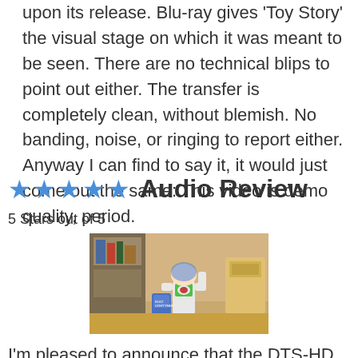upon its release. Blu-ray gives 'Toy Story' the visual stage on which it was meant to be seen. There are no technical blips to point out either. The transfer is completely clean, without blemish. No banding, noise, or ringing to report either. Anyway I can find to say it, it would just come out the same: This video is demo quality, period.
★★★★★ Audio Review
5 Stars out of 5
[Figure (photo): Screenshot from Toy Story showing Buzz Lightyear action figure standing in a room with shelves and toys in the background]
I'm pleased to announce that the DTS-HD Master